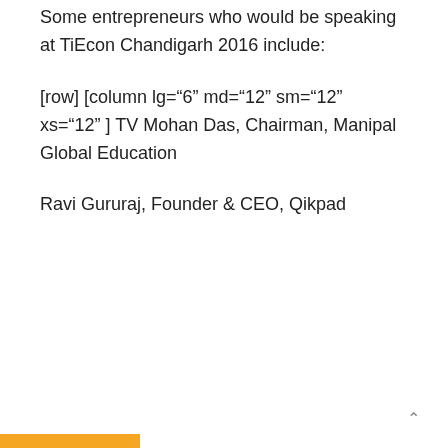Some entrepreneurs who would be speaking at TiEcon Chandigarh 2016 include:
[row] [column lg="6" md="12" sm="12" xs="12" ] TV Mohan Das, Chairman, Manipal Global Education
Ravi Gururaj, Founder & CEO, Qikpad